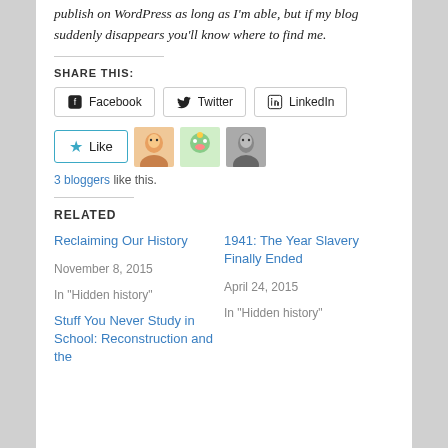publish on WordPress as long as I'm able, but if my blog suddenly disappears you'll know where to find me.
SHARE THIS:
Facebook  Twitter  LinkedIn
[Figure (other): Like button with star icon, and three blogger avatar images]
3 bloggers like this.
RELATED
Reclaiming Our History
November 8, 2015
In "Hidden history"
1941: The Year Slavery Finally Ended
April 24, 2015
In "Hidden history"
Stuff You Never Study in School: Reconstruction and the